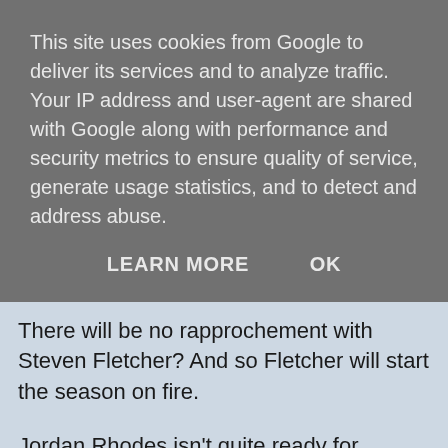This site uses cookies from Google to deliver its services and to analyze traffic. Your IP address and user-agent are shared with Google along with performance and security metrics to ensure quality of service, generate usage statistics, and to detect and address abuse.
LEARN MORE    OK
There will be no rapprochement with Steven Fletcher? And so Fletcher will start the season on fire.
Jordan Rhodes isn't quite ready for international football? No sooner said than Rhodes will bag a couple of goals.
There are eight or nine players ahead of Kris Commons? Time for Commons to become a stand-out performer for Celtic.
It makes the manager look like the sort of chap you wouldn't stand next to in a casino.
And it makes the volte-face on Fletcher look like the last